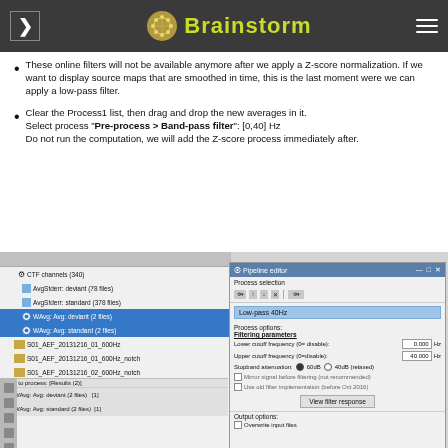Brainstorm
These online filters will not be available anymore after we apply a Z-score normalization. If we want to display source maps that are smoothed in time, this is the last moment were we can apply a low-pass filter.
Clear the Process1 list, then drag and drop the new averages in it.
Select process "Pre-process > Band-pass filter": [0,40] Hz
Do not run the computation, we will add the Z-score process immediately after.
[Figure (screenshot): Brainstorm software screenshot showing a file tree panel on the left with CTF channels, AvgStderr deviant, AvgStderr standard, WAvg Avg deviant (highlighted), WAvg Avg standard entries, and on the right a Pipeline editor dialog with a Low-pass 40Hz process selected, showing filtering parameters: Lower cutoff frequency 0.000 Hz, Upper cutoff frequency 40.000 Hz, Stopband attenuation 60dB selected, and a View filter response button.]